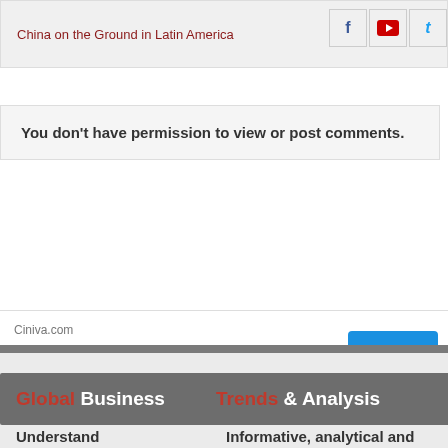China on the Ground in Latin America
You don't have permission to view or post comments.
[Figure (infographic): Advertisement banner for Ciniva.com Full-Service Creative Agency with an OPEN button]
Global Business   Trends & Analysis
Understand dynamic   Informative, analytical and policy oriented